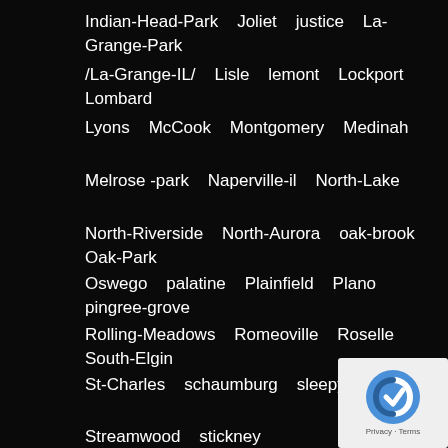Indian-Head-Park   Joliet   justice   La-Grange-Park
/La-Grange-IL/   Lisle   lemont   Lockport   Lombard
Lyons   McCook   Montgomery   Medinah
Melrose -park   Naperville-il   North-Lake
North-Riverside   North-Aurora   oak-brook   Oak-Park
Oswego   palatine   Plainfield   Plano   pingree-grove
Rolling-Meadows   Romeoville   Roselle   South-Elgin
St-Charles   schaumburg   sleepy-hollow
Streamwood   stickney   Sugar-grove   Summit
Villa-Park   Virgil   Warrenville   Wayne
[Figure (logo): reCAPTCHA logo with 'Privacy · Terms' text]